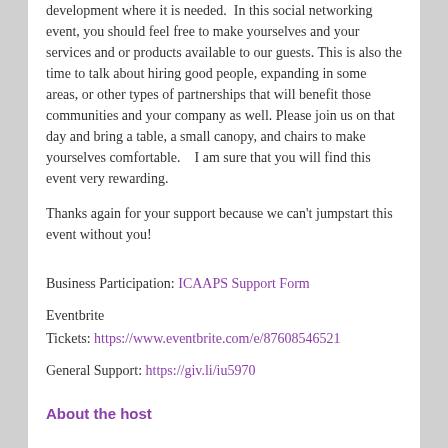development where it is needed.  In this social networking event, you should feel free to make yourselves and your services and or products available to our guests. This is also the time to talk about hiring good people, expanding in some areas, or other types of partnerships that will benefit those communities and your company as well. Please join us on that day and bring a table, a small canopy, and chairs to make yourselves comfortable.   I am sure that you will find this event very rewarding.
Thanks again for your support because we can't jumpstart this event without you!
Business Participation: ICAAPS Support Form
Eventbrite
Tickets: https://www.eventbrite.com/e/87608546521
General Support: https://giv.li/iu5970
About the host